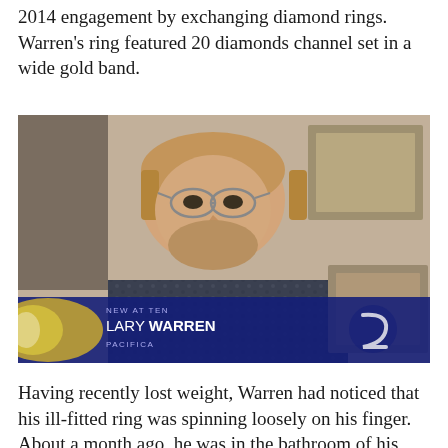2014 engagement by exchanging diamond rings. Warren's ring featured 20 diamonds channel set in a wide gold band.
[Figure (photo): TV news screenshot of Lary Warren from Pacifica. A middle-aged man with glasses and a beard wearing a patterned shirt, seated indoors. Lower-third graphic reads 'NEW AT TEN / LARY WARREN / PACIFICA' with a news channel logo.]
Having recently lost weight, Warren had noticed that his ill-fitted ring was spinning loosely on his finger. About a month ago, he was in the bathroom of his home, having just